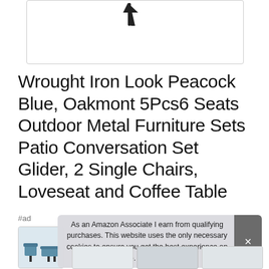[Figure (screenshot): Top portion of a product image box with a cursor icon visible, white background with grey border]
Wrought Iron Look Peacock Blue, Oakmont 5Pcs6 Seats Outdoor Metal Furniture Sets Patio Conversation Set Glider, 2 Single Chairs, Loveseat and Coffee Table
#ad
[Figure (photo): Small product thumbnail showing outdoor furniture set in blue]
As an Amazon Associate I earn from qualifying purchases. This website uses the only necessary cookies to ensure you get the best experience on our website. More information
[Figure (screenshot): Bottom row of product thumbnail images partially visible]